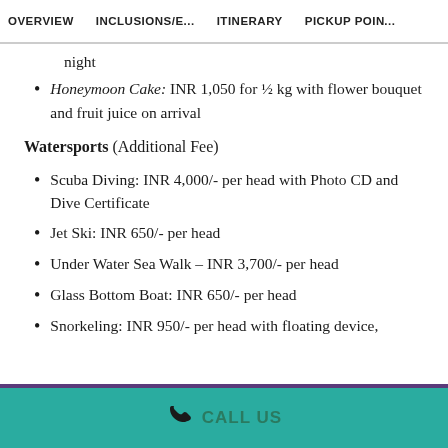OVERVIEW   INCLUSIONS/E...   ITINERARY   PICKUP POI...
night
Honeymoon Cake: INR 1,050 for ½ kg with flower bouquet and fruit juice on arrival
Watersports (Additional Fee)
Scuba Diving: INR 4,000/- per head with Photo CD and Dive Certificate
Jet Ski: INR 650/- per head
Under Water Sea Walk – INR 3,700/- per head
Glass Bottom Boat: INR 650/- per head
Snorkeling: INR 950/- per head with floating device,
CALL US